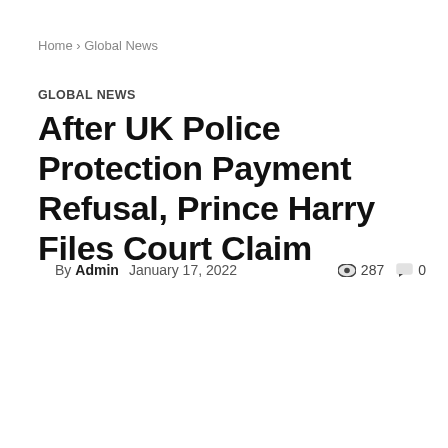Home › Global News
GLOBAL NEWS
After UK Police Protection Payment Refusal, Prince Harry Files Court Claim
By Admin   January 17, 2022   👁 287  💬 0